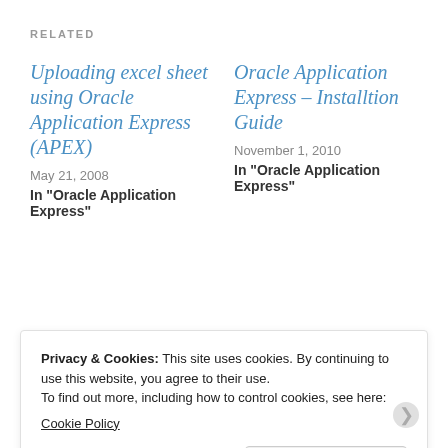RELATED
Uploading excel sheet using Oracle Application Express (APEX)
May 21, 2008
In "Oracle Application Express"
Oracle Application Express – Installtion Guide
November 1, 2010
In "Oracle Application Express"
Installing Oracle Data Integrator (ODI)
Privacy & Cookies: This site uses cookies. By continuing to use this website, you agree to their use.
To find out more, including how to control cookies, see here:
Cookie Policy
Close and accept